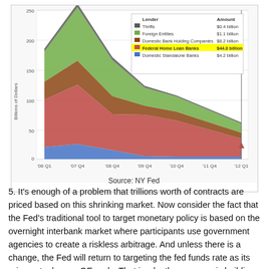[Figure (area-chart): Fed Funds Market Lenders]
Source: NY Fed
5. It's enough of a problem that trillions worth of contracts are priced based on this shrinking market. Now consider the fact that the Fed's traditional tool to target monetary policy is based on the overnight interbank market where participants use government agencies to create a riskless arbitrage. And unless there is a change, the Fed will return to targeting the fed funds rate as its primary tool, once QE ends. That is why the pressure is building on the central bank to develop